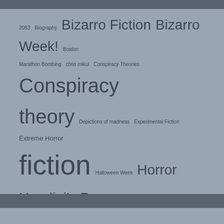[Figure (other): Tag cloud with book/literature related category tags in varying font sizes indicating frequency]